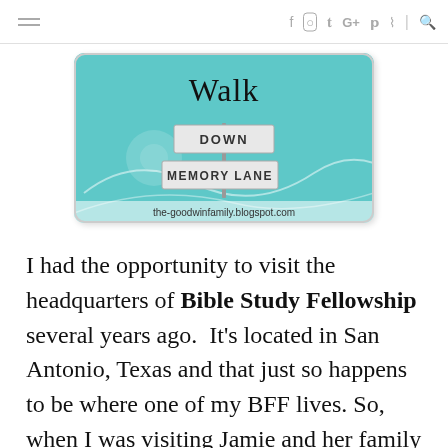≡  f  ⊙  𝕥  G+  𝕡  ⊓  |  🔍
[Figure (illustration): Blog badge image: teal background with 'Walk DOWN MEMORY LANE' street sign graphic and text 'the-goodwinfamily.blogspot.com']
I had the opportunity to visit the headquarters of Bible Study Fellowship several years ago.  It's located in San Antonio, Texas and that just so happens to be where one of my BFF lives. So, when I was visiting Jamie and her family we stopped by BSF headquarters.